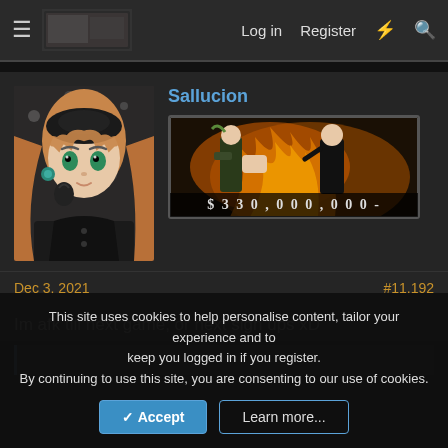Log in  Register
Sallucion
[Figure (illustration): Anime-style avatar of a girl with long blonde hair, green eyes, dark outfit, and teal earrings]
[Figure (illustration): Anime banner image with two characters in a fiery scene, text overlay: $ 330,000,000-]
Dec 3, 2021
#11,192
Im afk till next game, or next sign ups xD
This site uses cookies to help personalise content, tailor your experience and to keep you logged in if you register.
By continuing to use this site, you are consenting to our use of cookies.
Accept  Learn more...